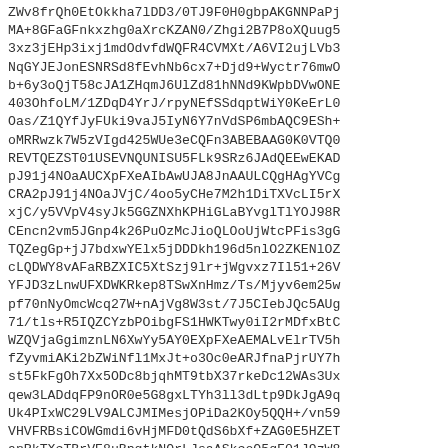ZWv8frQh0EtOkkha7lDD3/0TJ9F0H0gbpAKGNNPaPj
MA+8GFaGFnkxzhg0aXrcKZAN0/Zhgi2B7P8oXQuug5
3xz3jEHp3ixj1mdOdvfdWQFR4CVMXt/A6VI2ujLVb3
NqGYJEJonESNRSd8fEvhNb6cx7+Djd9+Wyctr76mwO
b+6y3oQjT58cJA1ZHqmJ6UlZd81hNNd9KWpbDVwONE
403OhfoLM/1ZDqD4YrJ/rpyNEfSSdqptWiY0KeErL0
Oas/Z1QYfJyFUki9vaJ5IyN6Y7nVdSP6mbAQC9ESh+
oMRRwzk7W5zVIgd425WUe3eCQFn3ABEBAAG0K0VTQ0
REVTQEZST01USEVNQUNISU5FLk9SRz6JAdQEEwEKAD
pJ91j4NOaAUCXpFXeAIbAwUJA8JnAAULCQgHAgYVCg
CRA2pJ91j4NOaJVjC/4oo5yCHe7M2h1DiTXVcLI5rX
xjC/y5VVpV4syJk5GGZNXhKPHiGLaBYvglTlYOJ98R
CEncn2vm5JGnp4k26PuOzMcJioQLOoUjWtcPFis3gG
TQZegGp+jJ7bdxwYElx5jDDDkh196d5nlO2ZKENlOZ
cLQDWY8vAFaRBZXIC5XtSzj9lr+jWgvxz7Il51+26V
YFJD3zLnwUFXDWKRkep8TSwXnHmz/Ts/Mjyv6em25w
pf70nNyOmcWcq27W+nAjVg8W3st/7J5CIebJQc5AUg
71/tls+R5IQZCYzbPOibgFS1HWKTwy0iI2rMDfxBtC
WZQVjaGgimznLN6XwYy5AY0EXpFXeAEMALvElrTV5h
fZyvmiAKi2bZWiNfl1MxJt+o3Oc0eARJfnaPjrUY7h
st5FkFgOh7Xx5ODc8bjqhMT9tbX37rkeDc12WAs3Ux
qew3LADdqFP9nOR0e5G8gxLTYh3ll3dLtp9DkJgA9q
Uk4PIxWC29LV9ALCJMIMesjOPiDa2KOy5QQH+/vn59
VHVFRBsiCOWGmdi6vHjMFD0tQdS6bXf+ZAG0E5HZET
anRkTXcTBrVE8uBpqtkNOrLJsaASkcoO5qF01J9zW8
7+N...